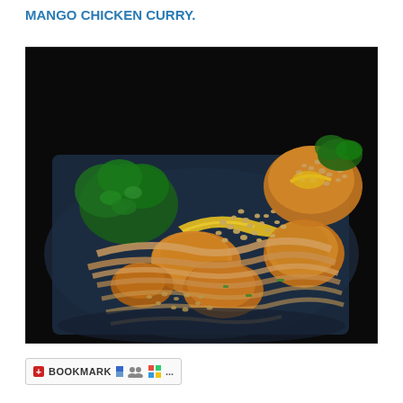MANGO CHICKEN CURRY.
[Figure (photo): A close-up photograph of mango chicken curry dish served on a dark plate, showing golden-brown chicken pieces, wide rice noodles, scattered nuts/seeds, yellow mango sauce, and fresh green herbs (cilantro), with a second serving visible in the upper right corner, all on a black background.]
[Figure (infographic): Bookmark toolbar with a red icon labeled BOOKMARK, followed by small social bookmark icons including a two-tone blue square (Delicious), a people/group icon, a Windows logo icon, and ellipsis dots.]